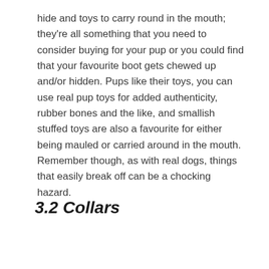hide and toys to carry round in the mouth; they're all something that you need to consider buying for your pup or you could find that your favourite boot gets chewed up and/or hidden. Pups like their toys, you can use real pup toys for added authenticity, rubber bones and the like, and smallish stuffed toys are also a favourite for either being mauled or carried around in the mouth. Remember though, as with real dogs, things that easily break off can be a chocking hazard.
3.2 Collars